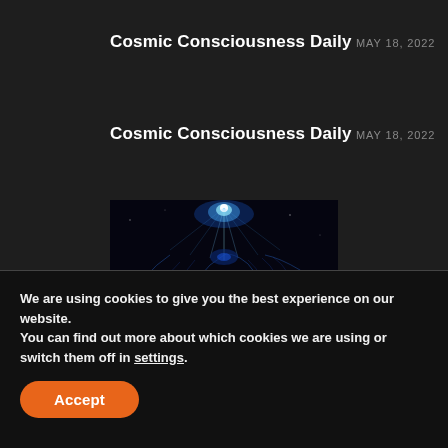Cosmic Consciousness Daily
MAY 18, 2022
Cosmic Consciousness Daily
MAY 18, 2022
[Figure (illustration): A glowing blue cosmic wormhole or black hole structure with a grid-like surface against a dark background, emitting blue light rays from the top.]
We are using cookies to give you the best experience on our website.
You can find out more about which cookies we are using or switch them off in settings.
Accept